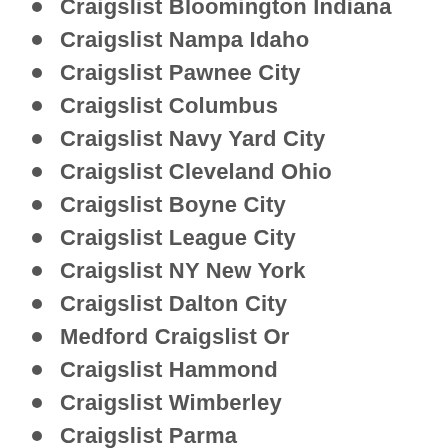Craigslist Bloomington Indiana
Craigslist Nampa Idaho
Craigslist Pawnee City
Craigslist Columbus
Craigslist Navy Yard City
Craigslist Cleveland Ohio
Craigslist Boyne City
Craigslist League City
Craigslist NY New York
Craigslist Dalton City
Medford Craigslist Or
Craigslist Hammond
Craigslist Wimberley
Craigslist Parma